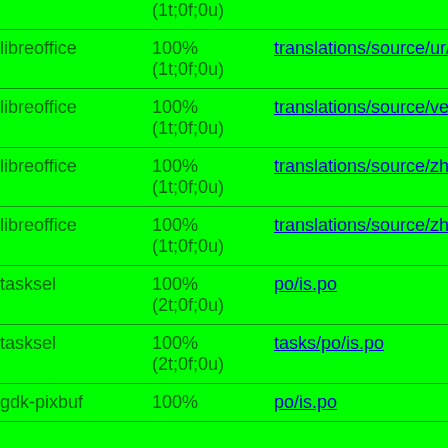| Package | Status | File |
| --- | --- | --- |
|  | (1t;0f;0u) |  |
| libreoffice | 100%
(1t;0f;0u) | translations/source/ur/dicti… |
| libreoffice | 100%
(1t;0f;0u) | translations/source/vec/dict… |
| libreoffice | 100%
(1t;0f;0u) | translations/source/zh-CN/d… |
| libreoffice | 100%
(1t;0f;0u) | translations/source/zh-TW/… |
| tasksel | 100%
(2t;0f;0u) | po/is.po |
| tasksel | 100%
(2t;0f;0u) | tasks/po/is.po |
| gdk-pixbuf | 100% | po/is.po |